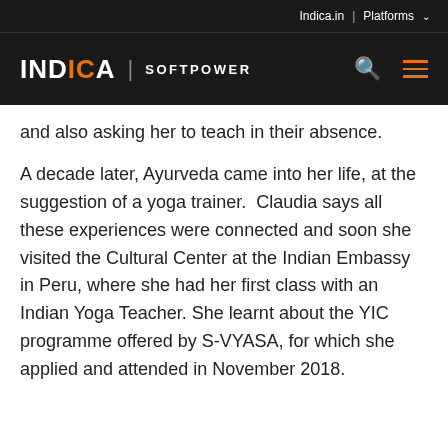Indica.in | Platforms
INDICA | SOFTPOWER
and also asking her to teach in their absence.
A decade later, Ayurveda came into her life, at the suggestion of a yoga trainer.  Claudia says all these experiences were connected and soon she visited the Cultural Center at the Indian Embassy in Peru, where she had her first class with an Indian Yoga Teacher. She learnt about the YIC programme offered by S-VYASA, for which she applied and attended in November 2018.